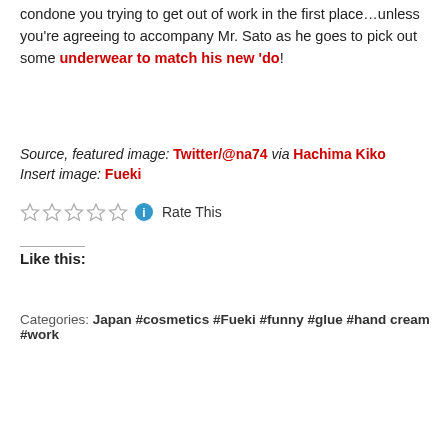condone you trying to get out of work in the first place…unless you're agreeing to accompany Mr. Sato as he goes to pick out some underwear to match his new 'do!
Source, featured image: Twitter/@na74 via Hachima Kiko
Insert image: Fueki
[Figure (other): Five empty star rating icons followed by an info icon and 'Rate This' text]
Like this:
Categories: Japan #cosmetics #Fueki #funny #glue #hand cream #work